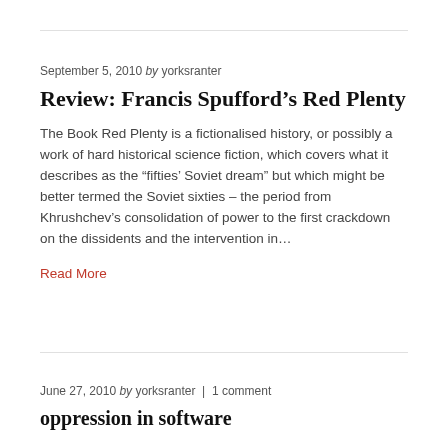September 5, 2010 by yorksranter
Review: Francis Spufford's Red Plenty
The Book Red Plenty is a fictionalised history, or possibly a work of hard historical science fiction, which covers what it describes as the “fifties’ Soviet dream” but which might be better termed the Soviet sixties – the period from Khrushchev’s consolidation of power to the first crackdown on the dissidents and the intervention in…
Read More
June 27, 2010 by yorksranter  |  1 comment
oppression in software